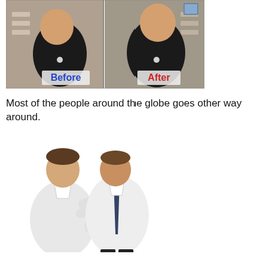[Figure (photo): Side-by-side Before and After photos of a man in a black t-shirt. The left panel shows him looking down (labeled 'Before') and the right panel shows him standing upright with better posture (labeled 'After').]
Most of the people around the globe goes other way around.
[Figure (photo): Two men in white dress shirts facing each other in a confrontational or argumentative pose on a white background. One man has a dark tie.]